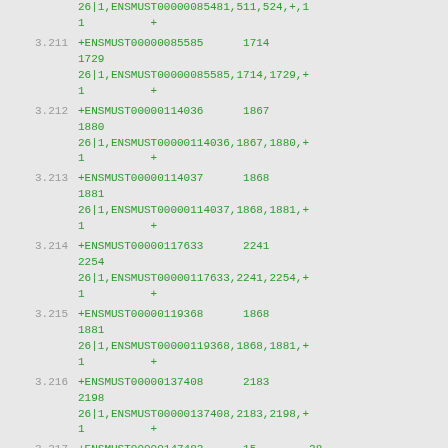26|1,ENSMUST00000085481,... 1 +
3.211 +ENSMUST00000085585 1714 1729
26|1,ENSMUST00000085585,1714,1729,+
1 +
3.212 +ENSMUST00000114036 1867 1880
26|1,ENSMUST00000114036,1867,1880,+
1 +
3.213 +ENSMUST00000114037 1868 1881
26|1,ENSMUST00000114037,1868,1881,+
1 +
3.214 +ENSMUST00000117633 2241 2254
26|1,ENSMUST00000117633,2241,2254,+
1 +
3.215 +ENSMUST00000119368 1868 1881
26|1,ENSMUST00000119368,1868,1881,+
1 +
3.216 +ENSMUST00000137408 2183 2198
26|1,ENSMUST00000137408,2183,2198,+
1 +
3.217 +ENSMUST00000147482 15 28
26|1,ENSMUST00000147482,15,28,+,13M...
1 +
3.218 +ENSMUST00000147700 79 92
26|1,ENSMUST00000147700,79,92,+,13M...
1 +